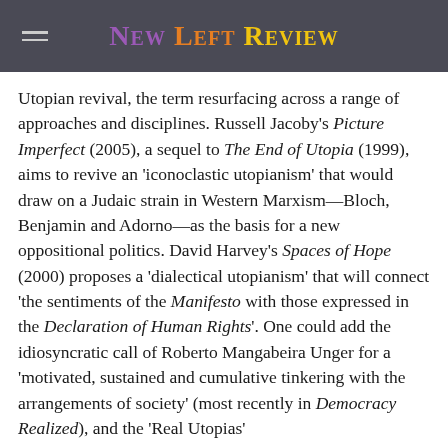New Left Review
Utopian revival, the term resurfacing across a range of approaches and disciplines. Russell Jacoby's Picture Imperfect (2005), a sequel to The End of Utopia (1999), aims to revive an 'iconoclastic utopianism' that would draw on a Judaic strain in Western Marxism—Bloch, Benjamin and Adorno—as the basis for a new oppositional politics. David Harvey's Spaces of Hope (2000) proposes a 'dialectical utopianism' that will connect 'the sentiments of the Manifesto with those expressed in the Declaration of Human Rights'. One could add the idiosyncratic call of Roberto Mangabeira Unger for a 'motivated, sustained and cumulative tinkering with the arrangements of society' (most recently in Democracy Realized), and the 'Real Utopias'